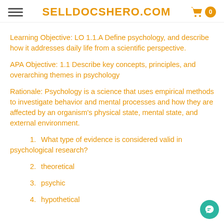SELLDOCSHERO.COM
Learning Objective: LO 1.1.A Define psychology, and describe how it addresses daily life from a scientific perspective.
APA Objective: 1.1 Describe key concepts, principles, and overarching themes in psychology
Rationale: Psychology is a science that uses empirical methods to investigate behavior and mental processes and how they are affected by an organism's physical state, mental state, and external environment.
1. What type of evidence is considered valid in psychological research?
2. theoretical
3. psychic
4. hypothetical